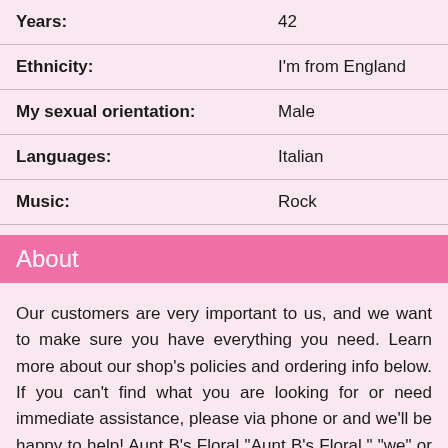| Years: | 42 |
| Ethnicity: | I'm from England |
| My sexual orientation: | Male |
| Languages: | Italian |
| Music: | Rock |
About
Our customers are very important to us, and we want to make sure you have everything you need. Learn more about our shop's policies and ordering info below. If you can't find what you are looking for or need immediate assistance, please via phone or and we'll be happy to help! Aunt B's Floral "Aunt B's Floral," "we" or "us" is committed to protecting the privacy and security of the